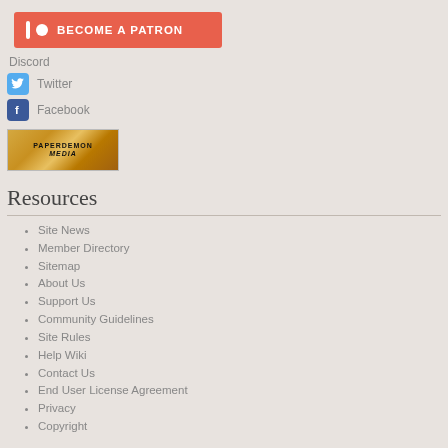[Figure (other): Patreon button: red/coral button with patreon icon and text BECOME A PATRON]
Discord
[Figure (other): Twitter social icon (blue bird icon) with label Twitter]
[Figure (other): Facebook social icon (blue F icon) with label Facebook]
[Figure (logo): PaperDemon Media logo banner with gold/yellow background and bold text]
Resources
Site News
Member Directory
Sitemap
About Us
Support Us
Community Guidelines
Site Rules
Help Wiki
Contact Us
End User License Agreement
Privacy
Copyright
© 2022 PaperDemon. All rights reserved.